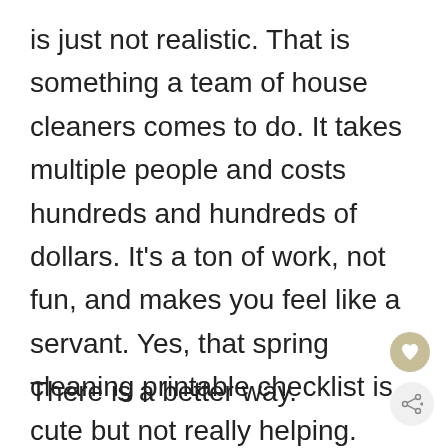is just not realistic. That is something a team of house cleaners comes to do. It takes multiple people and costs hundreds and hundreds of dollars. It’s a ton of work, not fun, and makes you feel like a servant. Yes, that spring cleaning printable checklist is cute but not really helping.
There is a better way.